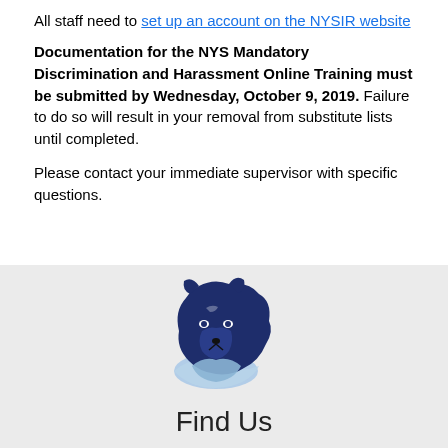All staff need to set up an account on the NYSIR website
Documentation for the NYS Mandatory Discrimination and Harassment Online Training must be submitted by Wednesday, October 9, 2019. Failure to do so will result in your removal from substitute lists until completed.
Please contact your immediate supervisor with specific questions.
[Figure (logo): Dark navy blue panther/wildcat mascot head logo with light blue swirl accent]
Find Us